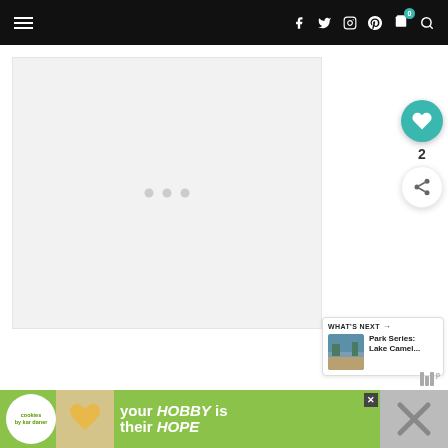[Figure (screenshot): Website navigation bar with hamburger menu on left, social media icons (Facebook, Twitter, Instagram, Pinterest) and cart icon with badge showing 0, and search icon on right, all on black background]
[Figure (photo): Large light gray image placeholder area with three loading dots in the center]
[Figure (screenshot): Right sidebar with teal heart/like button, count of 2, and white share button below]
[Figure (screenshot): What's Next panel showing thumbnail of park scene and text 'Park Series: Lake Camel...']
[Figure (screenshot): Advertisement banner at bottom with Cookies by Kar logo, heart-shaped cookie image, text 'your HOBBY is their HOPE' on green background, and X close button]